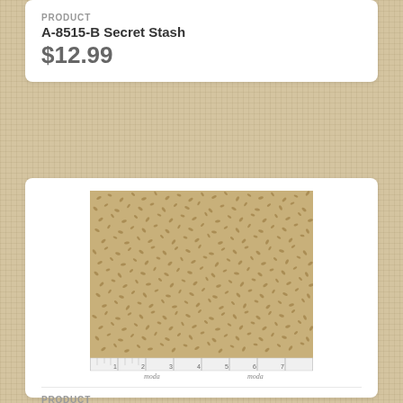PRODUCT
A-8515-B Secret Stash
$12.99
[Figure (photo): Tan fabric swatch with small scattered brown leaf/vine pattern, shown with a ruler and Moda branding at the bottom]
PRODUCT
9655 21 Prairie Dreams Tonal Tan
$11.99